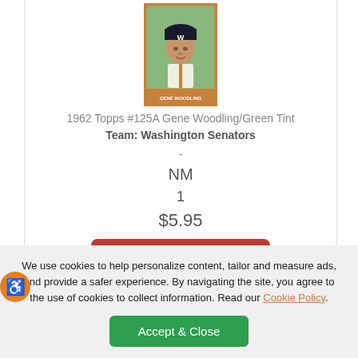[Figure (photo): Baseball card photo of Gene Woodling in Washington Senators uniform with 'W' cap, 1962 Topps card with orange border]
1962 Topps #125A Gene Woodling/Green Tint
Team: Washington Senators
-
NM
1
$5.95
ADD TO CART
We use cookies to help personalize content, tailor and measure ads, and provide a safer experience. By navigating the site, you agree to the use of cookies to collect information. Read our Cookie Policy.
Accept & Close